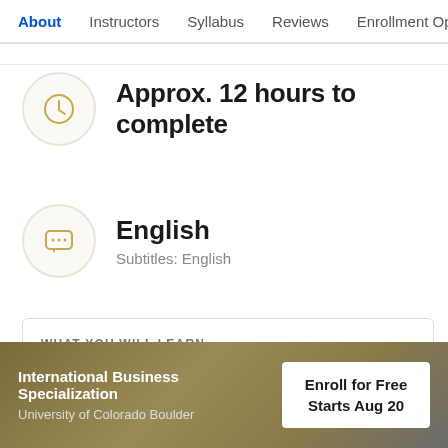About | Instructors | Syllabus | Reviews | Enrollment Opt
Approx. 12 hours to complete
English
Subtitles: English
WHAT YOU WILL LEARN
Comprehend the importance of global supply
International Business Specialization
University of Colorado Boulder
Enroll for Free
Starts Aug 20